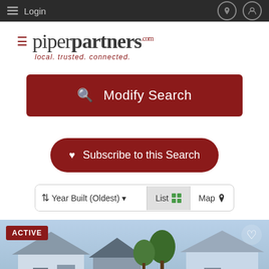Login
[Figure (logo): Piper Partners logo with tagline 'local. trusted. connected.']
[Figure (screenshot): Modify Search button (dark red/maroon)]
[Figure (screenshot): Subscribe to this Search button (dark red/maroon, rounded)]
[Figure (screenshot): Sort bar: Year Built (Oldest) dropdown, List view and Map view toggle]
[Figure (photo): Active listing property photo showing residential houses with ACTIVE badge and heart/favorite icon]